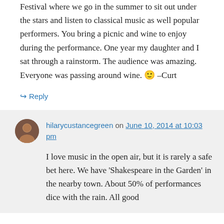Festival where we go in the summer to sit out under the stars and listen to classical music as well popular performers. You bring a picnic and wine to enjoy during the performance. One year my daughter and I sat through a rainstorm. The audience was amazing. Everyone was passing around wine. 🙂 –Curt
↪ Reply
hilarycustancegreen on June 10, 2014 at 10:03 pm
I love music in the open air, but it is rarely a safe bet here. We have 'Shakespeare in the Garden' in the nearby town. About 50% of performances dice with the rain. All good